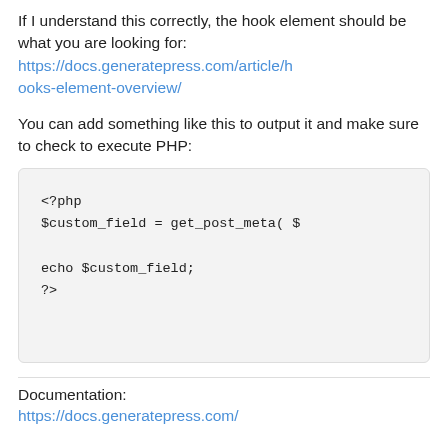If I understand this correctly, the hook element should be what you are looking for: https://docs.generatepress.com/article/hooks-element-overview/
You can add something like this to output it and make sure to check to execute PHP:
<?php
$custom_field = get_post_meta( $
echo $custom_field;
?>
Documentation:
https://docs.generatepress.com/